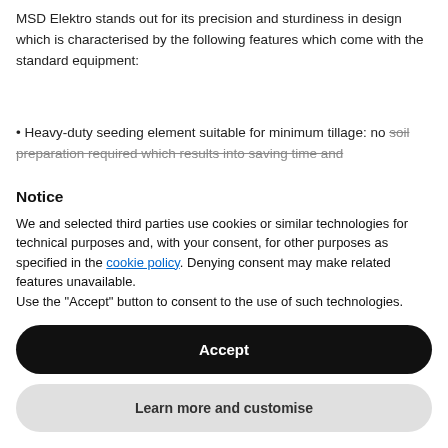MSD Elektro stands out for its precision and sturdiness in design which is characterised by the following features which come with the standard equipment:
• Heavy-duty seeding element suitable for minimum tillage: no soil preparation required which results into saving time and
Notice
We and selected third parties use cookies or similar technologies for technical purposes and, with your consent, for other purposes as specified in the cookie policy. Denying consent may make related features unavailable.
Use the "Accept" button to consent to the use of such technologies.